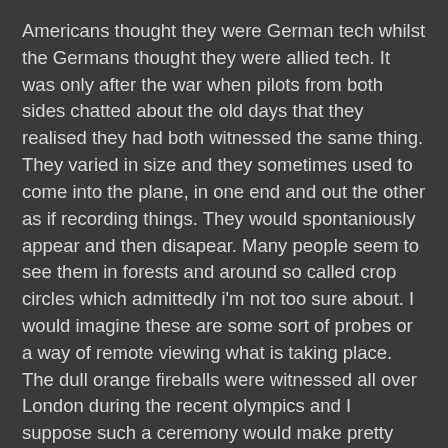Americans thought they were German tech whilst the Germans thought they were allied tech. It was only after the war when pilots from both sides chatted about the old days that they realised they had both witnessed the same thing. They varied in size and they sometimes used to come into the plane, in one end and out the other as if recording things. They would spontaniously appear and then disapear. Many people seem to see them in forests and around so called crop circles which admittedly i'm not too sure about. I would imagine these are some sort of probes or a way of remote viewing what is taking place. The dull orange fireballs were witnessed all over London during the recent olympics and I suppose such a ceremony would make pretty spectacular veiwing on other planets. They probaly normally only see us blowing eachother up.
As to who is controlling them remotely we don't know. It could be anything from future historians to